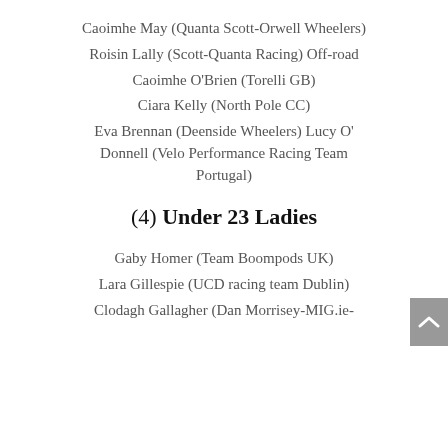Caoimhe May (Quanta Scott-Orwell Wheelers)
Roisin Lally (Scott-Quanta Racing) Off-road
Caoimhe O'Brien (Torelli GB)
Ciara Kelly (North Pole CC)
Eva Brennan (Deenside Wheelers) Lucy O' Donnell (Velo Performance Racing Team Portugal)
(4) Under 23 Ladies
Gaby Homer (Team Boompods UK)
Lara Gillespie (UCD racing team Dublin)
Clodagh Gallagher (Dan Morrisey-MIG.ie-